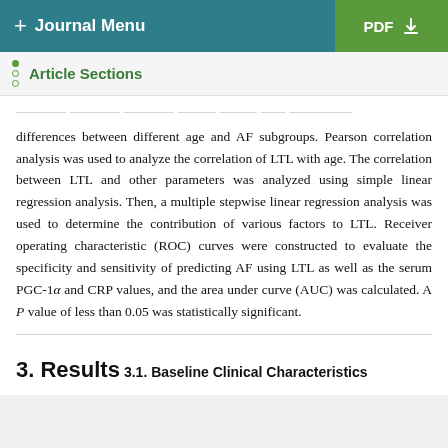+ Journal Menu   PDF ↓
Article Sections
differences between different age and AF subgroups. Pearson correlation analysis was used to analyze the correlation of LTL with age. The correlation between LTL and other parameters was analyzed using simple linear regression analysis. Then, a multiple stepwise linear regression analysis was used to determine the contribution of various factors to LTL. Receiver operating characteristic (ROC) curves were constructed to evaluate the specificity and sensitivity of predicting AF using LTL as well as the serum PGC-1α and CRP values, and the area under curve (AUC) was calculated. A P value of less than 0.05 was statistically significant.
3. Results
3.1. Baseline Clinical Characteristics